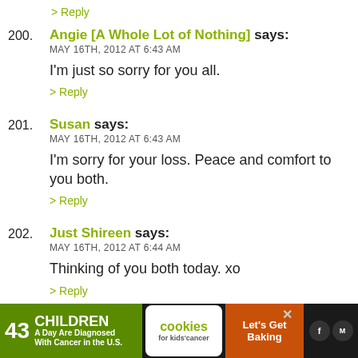> Reply
200. Angie [A Whole Lot of Nothing] says:
MAY 16TH, 2012 AT 6:43 AM
I'm just so sorry for you all.
> Reply
201. Susan says:
MAY 16TH, 2012 AT 6:43 AM
I'm sorry for your loss. Peace and comfort to you both.
> Reply
202. Just Shireen says:
MAY 16TH, 2012 AT 6:44 AM
Thinking of you both today. xo
> Reply
203. chantelle says:
[Figure (screenshot): Advertisement banner: '43 CHILDREN A Day Are Diagnosed With Cancer in the U.S.' with cookies for kids cancer logo and Let's Get Baking button, with social media icons on right]